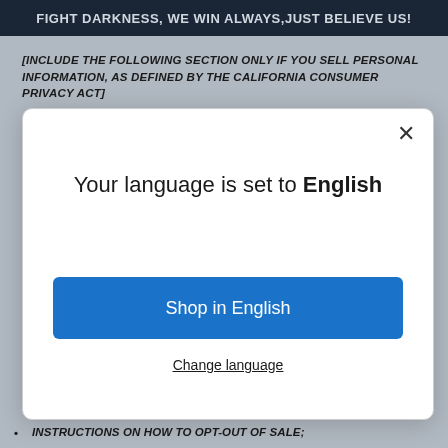FIGHT DARKNESS, WE WIN ALWAYS,JUST BELIEVE US!
[INCLUDE THE FOLLOWING SECTION ONLY IF YOU SELL PERSONAL INFORMATION, AS DEFINED BY THE CALIFORNIA CONSUMER PRIVACY ACT]
[Figure (screenshot): Modal dialog showing 'Your language is set to English' with a blue 'Shop in English' button and a 'Change language' underlined link, plus an X close button in the top right corner.]
INSTRUCTIONS ON HOW TO OPT-OUT OF SALE;
WHETHER YOUR BUSINESS SELLS INFORMATION OF MINORS (UNDER 16) AND WHETHER YOU OBTAIN AFFIRMATIVE AUTHORIZATION;
IF YOU PROVIDE A FINANCIAL INCENTIVE TO NOT